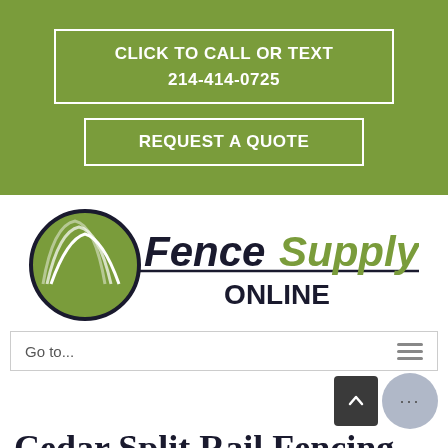CLICK TO CALL OR TEXT
214-414-0725
REQUEST A QUOTE
[Figure (logo): Fence Supply Online logo with circular green fence icon and stylized text]
Go to...
...
Cedar Split Rail Fencing